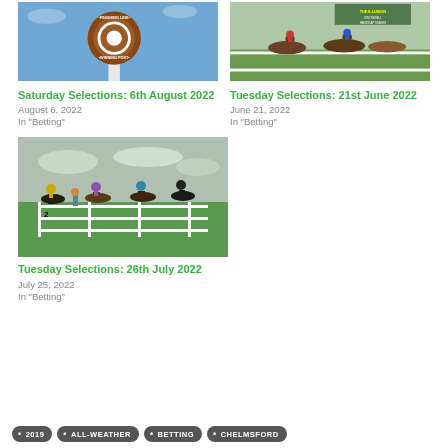[Figure (photo): Horse racing winning post sign, brown circular sign with white center, text FINISHING LINE WINNING POST, blue sky background]
Saturday Selections: 6th August 2022
August 6, 2022
In "Betting"
[Figure (photo): Horse race in progress at Southwell racecourse, horses and jockeys racing past the finishing post, green grass and white rails]
Tuesday Selections: 21st June 2022
June 21, 2022
In "Betting"
[Figure (photo): Horse parade ring or track walk, jockeys and horses walking away from camera along white rail-lined track, green field]
Tuesday Selections: 26th July 2022
July 25, 2022
In "Betting"
2019
ALL-WEATHER
BETTING
CHELMSFORD